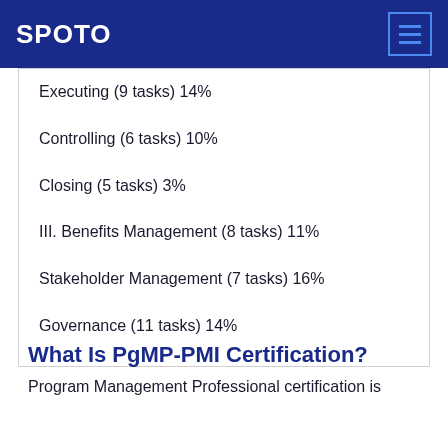SPOTO
Executing (9 tasks) 14%
Controlling (6 tasks) 10%
Closing (5 tasks) 3%
III. Benefits Management (8 tasks) 11%
Stakeholder Management (7 tasks) 16%
Governance (11 tasks) 14%
What Is PgMP-PMI Certification?
Program Management Professional certification is